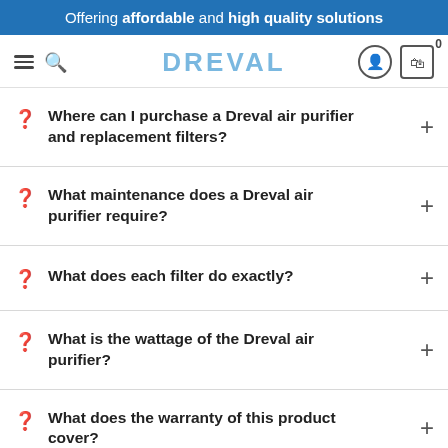Offering affordable and high quality solutions
DREVAL
Where can I purchase a Dreval air purifier and replacement filters?
What maintenance does a Dreval air purifier require?
What does each filter do exactly?
What is the wattage of the Dreval air purifier?
What does the warranty of this product cover?